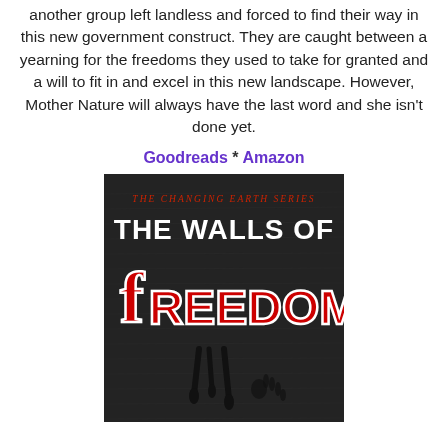another group left landless and forced to find their way in this new government construct. They are caught between a yearning for the freedoms they used to take for granted and a will to fit in and excel in this new landscape. However, Mother Nature will always have the last word and she isn't done yet.
Goodreads * Amazon
[Figure (photo): Book cover for 'The Walls of Freedom' from The Changing Earth Series. Dark background with white text 'THE WALLS OF' and large red graffiti-style text 'fREEDOM'. Subtitle 'THE CHANGING EARTH SERIES' in red at top.]